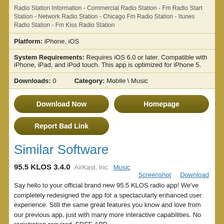Radio Station Information - Commercial Radio Station - Fm Radio Start Station - Network Radio Station - Chicago Fm Radio Station - Itunes Radio Station - Fm Kiss Radio Station
Platform: iPhone, iOS
System Requirements: Requires iOS 6.0 or later. Compatible with iPhone, iPad, and iPod touch. This app is optimized for iPhone 5.
Downloads: 0   Category: Mobile \ Music
Download Now
Homepage
Report Bad Link
Similar Software
95.5 KLOS 3.4.0   AirKast, Inc.   Music
Screenshot   Download
Say hello to your official brand new 95.5 KLOS radio app! We've completely redesigned the app for a spectacularly enhanced user experience. Still the same great features you know and love from our previous app, just with many more interactive capabilities. No registration required. FREE APP....
95.5 WPLJ 3.4.0   AirKast, Inc.   Music
Screenshot   Download
Say hello to your official brand new 95.5 WPLJ radio app! We've completely